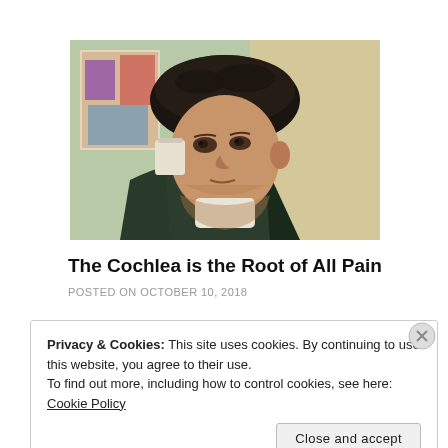[Figure (illustration): Van Gogh self-portrait with bandaged ear, wearing dark coat and fur hat, colorful Japanese print visible in background]
The Cochlea is the Root of All Pain
POSTED ON OCTOBER 10, 2018
Privacy & Cookies: This site uses cookies. By continuing to use this website, you agree to their use.
To find out more, including how to control cookies, see here: Cookie Policy
[Close and accept]